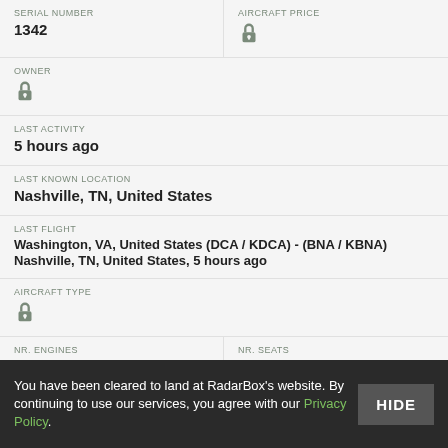SERIAL NUMBER: 1342
AIRCRAFT PRICE: [locked]
OWNER: [locked]
LAST ACTIVITY: 5 hours ago
LAST KNOWN LOCATION: Nashville, TN, United States
LAST FLIGHT: Washington, VA, United States (DCA / KDCA) - (BNA / KBNA) Nashville, TN, United States, 5 hours ago
AIRCRAFT TYPE: [locked]
NR. ENGINES: [locked]
NR. SEATS: [locked]
You have been cleared to land at RadarBox's website. By continuing to use our services, you agree with our Privacy Policy.